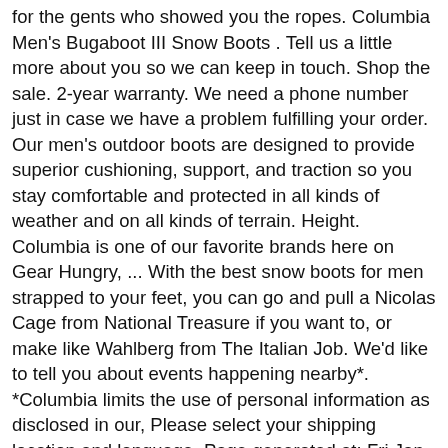for the gents who showed you the ropes. Columbia Men's Bugaboot III Snow Boots . Tell us a little more about you so we can keep in touch. Shop the sale. 2-year warranty. We need a phone number just in case we have a problem fulfilling your order. Our men's outdoor boots are designed to provide superior cushioning, support, and traction so you stay comfortable and protected in all kinds of weather and on all kinds of terrain. Height. Columbia is one of our favorite brands here on Gear Hungry, ... With the best snow boots for men strapped to your feet, you can go and pull a Nicolas Cage from National Treasure if you want to, or make like Wahlberg from The Italian Job. We'd like to tell you about events happening nearby*. *Columbia limits the use of personal information as disclosed in our, Please select your shipping location and language, Page generated at: Fri Jan 15 2021 13:15:11 GMT-0000 (GMT). DOCKERS Schnürstiefelette - darkbrown. CDN$ 122.24 CDN$ 122. Free returns. $55.00. Mens Shoe Size. Columbia Men's Bugaboot III Snow Boot. If an account exists, we'll send an email with a password reset link. Men's Columbia Boots. Original $120.00. 81. SORT: Top Sellers. Skip to Content; Skip to Main Nav; Skip to Search; Up to